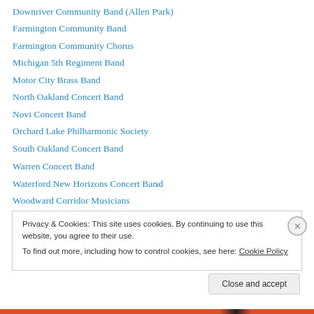Downriver Community Band (Allen Park)
Farmington Community Band
Farmington Community Chorus
Michigan 5th Regiment Band
Motor City Brass Band
North Oakland Concert Band
Novi Concert Band
Orchard Lake Philharmonic Society
South Oakland Concert Band
Warren Concert Band
Waterford New Horizons Concert Band
Woodward Corridor Musicians
Ypsilanti Community Band
Privacy & Cookies: This site uses cookies. By continuing to use this website, you agree to their use. To find out more, including how to control cookies, see here: Cookie Policy
Close and accept